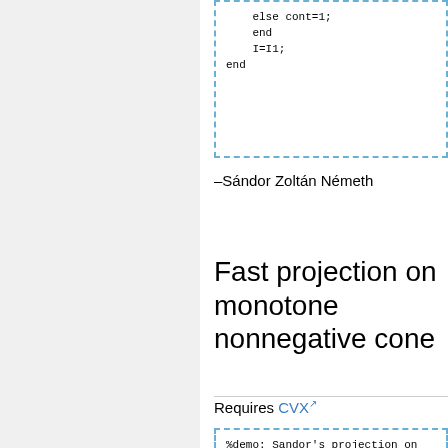else cont=1;
    end
    I=I1;
end
–Sándor Zoltán Németh
Fast projection on monotone nonnegative cone
Requires CVX
%demo: Sandor's projection on
%-Jon Dattorro, June 16, 2009
clear all
clc

n = 500;
a = randn(n,1);

if n < 5000
    cvx_quiet('true')